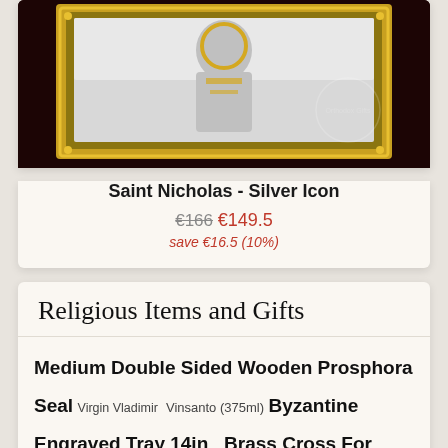[Figure (photo): Saint Nicholas Silver Icon in a gold ornate frame against dark background]
Saint Nicholas - Silver Icon
€166  €149.5
save €16.5 (10%)
Religious Items and Gifts
Medium Double Sided Wooden Prosphora Seal  Virgin Vladimir  Vinsanto (375ml)  Byzantine Engraved Tray 14in  Brass Cross For Flags  Hospital Kit Vineyard Byzantine Design - 411  Large Double Sided Wooden Prosphora Seal  Candle Stands For Holy Table - 1562M  Silver Cross 925 with Hand Made Christ Body  Silver Pectoral Cross - 220  Holy